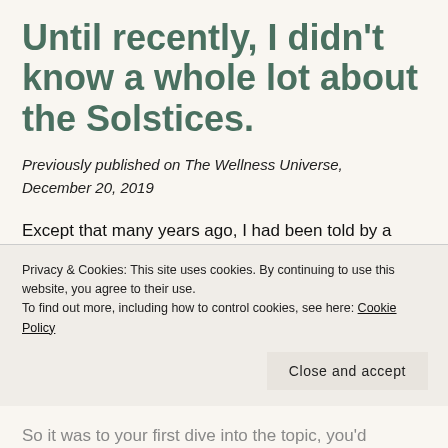Until recently, I didn't know a whole lot about the Solstices.
Previously published on The Wellness Universe, December 20, 2019
Except that many years ago, I had been told by a particular religious group that the Christmas holiday was celebrated at about the same time that Pagans celebrated the Winter Solstice. I
Privacy & Cookies: This site uses cookies. By continuing to use this website, you agree to their use.
To find out more, including how to control cookies, see here: Cookie Policy
Close and accept
So it was to your first dive into the topic, you'd